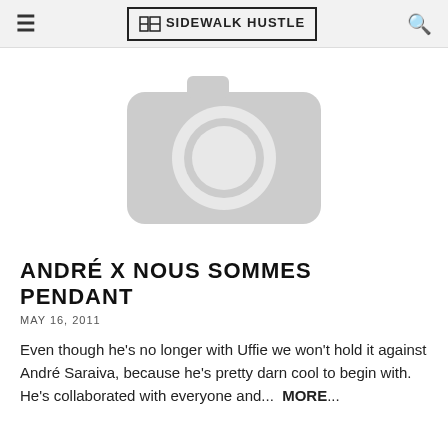SIDEWALK HUSTLE
[Figure (illustration): Gray camera placeholder icon on white background]
ANDRÉ X NOUS SOMMES PENDANT
MAY 16, 2011
Even though he's no longer with Uffie we won't hold it against André Saraiva, because he's pretty darn cool to begin with. He's collaborated with everyone and...  MORE...